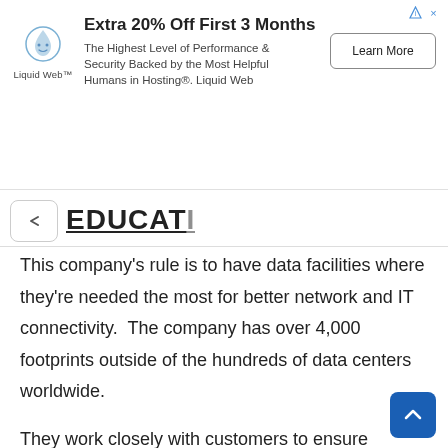[Figure (other): Advertisement banner for Liquid Web hosting. Headline: Extra 20% Off First 3 Months. Body: The Highest Level of Performance & Security Backed by the Most Helpful Humans in Hosting®. Liquid Web. Button: Learn More.]
This company's rule is to have data facilities where they're needed the most for better network and IT connectivity.  The company has over 4,000 footprints outside of the hundreds of data centers worldwide.
They work closely with customers to ensure tailored scalability, power, and connectivity. Their best quality is the ability to offer a self-service  EdgeOS a DCIM that is meant for high observability, that closely monitors a far-flung platform with a single universal